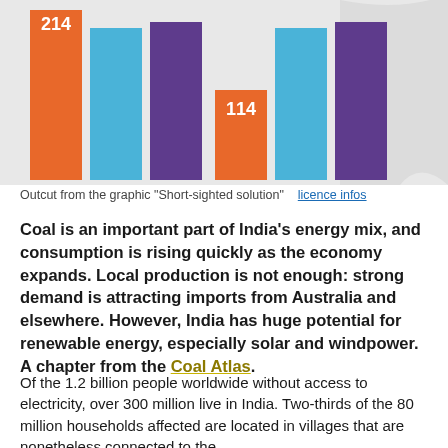[Figure (bar-chart): Partial bar chart showing values 214 (orange bar) and 114 (orange bar), with blue and purple bars also visible. Background is light gray.]
Outcut from the graphic "Short-sighted solution"   licence infos
Coal is an important part of India's energy mix, and consumption is rising quickly as the economy expands. Local production is not enough: strong demand is attracting imports from Australia and elsewhere. However, India has huge potential for renewable energy, especially solar and windpower. A chapter from the Coal Atlas.
Of the 1.2 billion people worldwide without access to electricity, over 300 million live in India. Two-thirds of the 80 million households affected are located in villages that are nonetheless connected to the